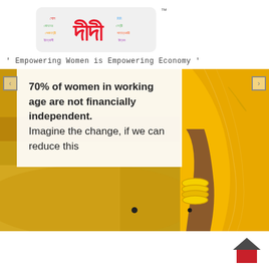[Figure (logo): Didi logo with Bengali word cloud text surrounding red Hindi/Bengali script for 'Didi', with TM mark]
' Empowering Women is Empowering Economy '
[Figure (photo): Photo of an Indian woman in a yellow sari with gold bangles, standing in a field. A white text overlay box shows the statistic about women's financial independence.]
70% of women in working age are not financially independent. Imagine the change, if we can reduce this
[Figure (logo): Red and dark house/roof icon in bottom right corner]